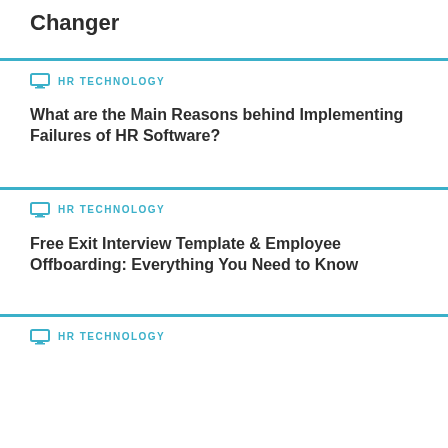Changer
HR TECHNOLOGY
What are the Main Reasons behind Implementing Failures of HR Software?
HR TECHNOLOGY
Free Exit Interview Template & Employee Offboarding: Everything You Need to Know
HR TECHNOLOGY